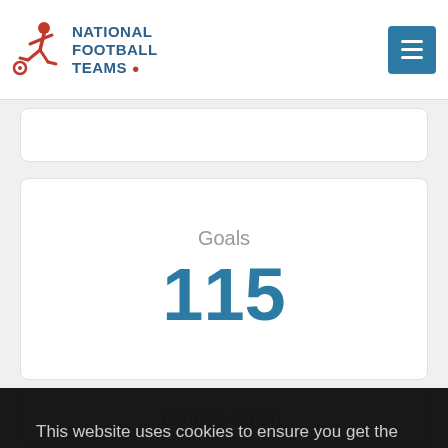NATIONAL FOOTBALL TEAMS
Goals
115
This website uses cookies to ensure you get the best experience on our website. Learn more
Allow cookies
Games W/D/L